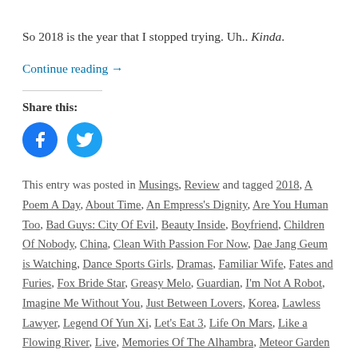So 2018 is the year that I stopped trying. Uh.. Kinda.
Continue reading →
Share this:
[Figure (infographic): Facebook and Twitter circular social sharing buttons]
This entry was posted in Musings, Review and tagged 2018, A Poem A Day, About Time, An Empress's Dignity, Are You Human Too, Bad Guys: City Of Evil, Beauty Inside, Boyfriend, Children Of Nobody, China, Clean With Passion For Now, Dae Jang Geum is Watching, Dance Sports Girls, Dramas, Familiar Wife, Fates and Furies, Fox Bride Star, Greasy Melo, Guardian, I'm Not A Robot, Imagine Me Without You, Just Between Lovers, Korea, Lawless Lawyer, Legend Of Yun Xi, Let's Eat 3, Life On Mars, Like a Flowing River, Live, Memories Of The Alhambra, Meteor Garden 2018, Misty, Money Flower, Moonshine And Valentine, Mr. Sunshine, My Husband Oh